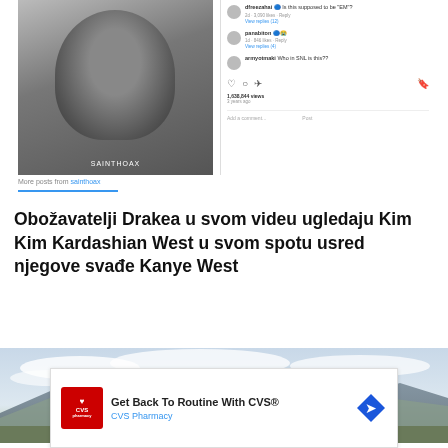[Figure (screenshot): Instagram post screenshot showing a black and white photo of Drake on the left, and comments/engagement section on the right with user comments, view counts (1,638,844 views), and interaction icons.]
Obožavatelji Drakea u svom videu ugledaju Kim Kim Kardashian West u svom spotu usred njegove svađe Kanye West
[Figure (photo): Landscape photo showing mountains with clouds and a tree in the foreground, used as article header image.]
[Figure (other): CVS Pharmacy advertisement banner: 'Get Back To Routine With CVS®' with CVS Pharmacy logo and navigation icon.]